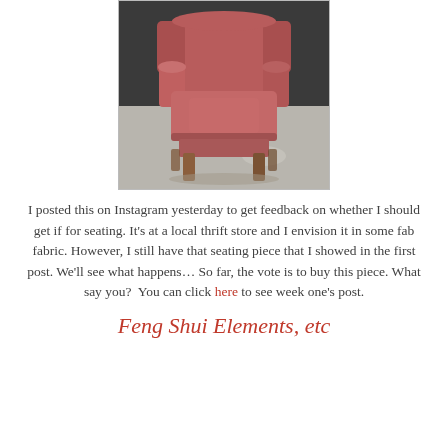[Figure (photo): A worn red/pink upholstered wingback armchair with wooden legs, photographed in what appears to be a thrift store with a concrete floor and dark background.]
I posted this on Instagram yesterday to get feedback on whether I should get if for seating. It's at a local thrift store and I envision it in some fab fabric. However, I still have that seating piece that I showed in the first post. We'll see what happens… So far, the vote is to buy this piece. What say you?  You can click here to see week one's post.
Feng Shui Elements, etc